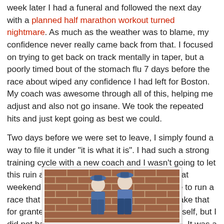week later I had a funeral and followed the next day with a planned half marathon workout turned nightmare. As much as the weather was to blame, my confidence never really came back from that. I focused on trying to get back on track mentally in taper, but a poorly timed bout of the stomach flu 7 days before the race about wiped any confidence I had left for Boston. My coach was awesome through all of this, helping me adjust and also not go insane. We took the repeated hits and just kept going as best we could.
Two days before we were set to leave, I simply found a way to file it under "it is what it is". I had such a strong training cycle with a new coach and I wasn't going to let this ruin all of that. It was still going to be a great weekend away with Brian, and another chance to run a race that so many would love to- I refused to take that for granted. I hadn't ruled out a PR race for myself, but I did not have my happiness tied to the outcome. It was a freeing feeling.
[Figure (photo): Two people standing in front of a brick wall, photo cropped at bottom of page]